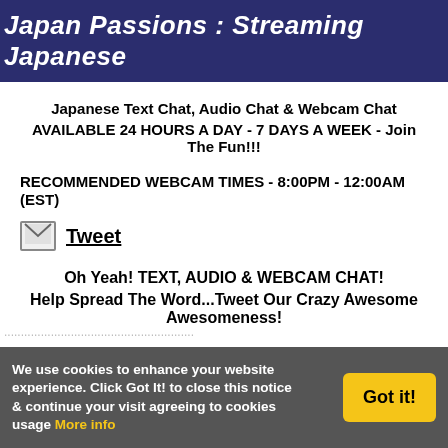Japan Passions : Streaming Japanese
Japanese Text Chat, Audio Chat & Webcam Chat
AVAILABLE 24 HOURS A DAY - 7 DAYS A WEEK - Join The Fun!!!
RECOMMENDED WEBCAM TIMES - 8:00PM - 12:00AM (EST)
Tweet
Oh Yeah! TEXT, AUDIO & WEBCAM CHAT!
Help Spread The Word...Tweet Our Crazy Awesome Awesomeness!
We use cookies to enhance your website experience. Click Got It! to close this notice & continue your visit agreeing to cookies usage More info